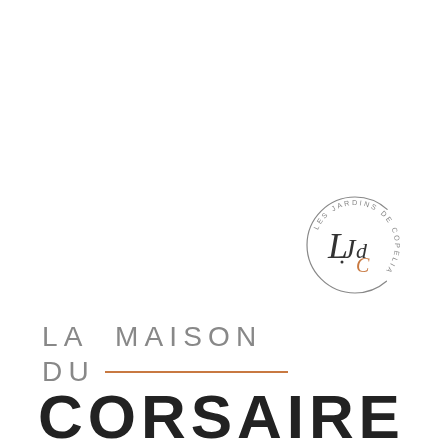[Figure (logo): Circular logo with text 'LES JARDINS DE COPELIA' around the rim and stylized 'LJdC' monogram in the center, with the 'C' in copper/orange color]
LA MAISON DU CORSAIRE